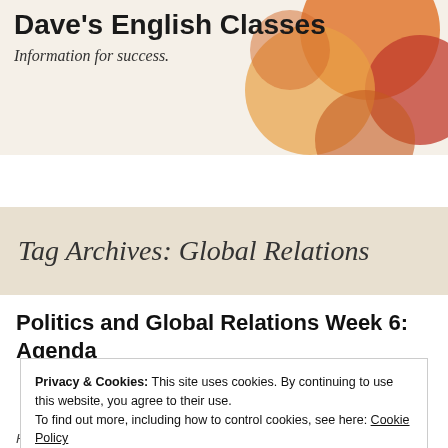Dave's English Classes
Information for success.
Tag Archives: Global Relations
Politics and Global Relations Week 6: Agenda
Privacy & Cookies: This site uses cookies. By continuing to use this website, you agree to their use. To find out more, including how to control cookies, see here: Cookie Policy
Close and accept
Has anyone seen the agenda? I don't know if my